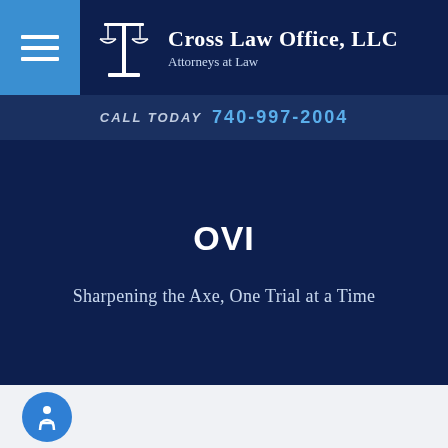Cross Law Office, LLC — Attorneys at Law
CALL TODAY 740-997-2004
OVI
Sharpening the Axe, One Trial at a Time
[Figure (logo): Accessibility button icon at bottom left]